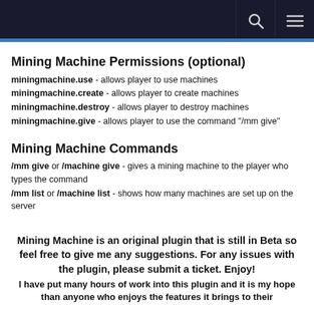Mining Machine Permissions (optional)
miningmachine.use - allows player to use machines
miningmachine.create - allows player to create machines
miningmachine.destroy - allows player to destroy machines
miningmachine.give - allows player to use the command "/mm give"
Mining Machine Commands
/mm give or /machine give - gives a mining machine to the player who types the command
/mm list or /machine list - shows how many machines are set up on the server
Mining Machine is an original plugin that is still in Beta so feel free to give me any suggestions. For any issues with the plugin, please submit a ticket. Enjoy!
I have put many hours of work into this plugin and it is my hope than anyone who enjoys the features it brings to their